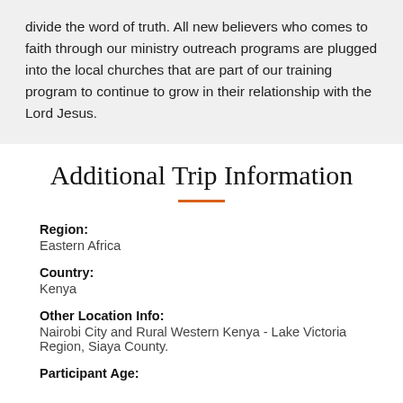divide the word of truth. All new believers who comes to faith through our ministry outreach programs are plugged into the local churches that are part of our training program to continue to grow in their relationship with the Lord Jesus.
Additional Trip Information
Region: Eastern Africa
Country: Kenya
Other Location Info: Nairobi City and Rural Western Kenya - Lake Victoria Region, Siaya County.
Participant Age: